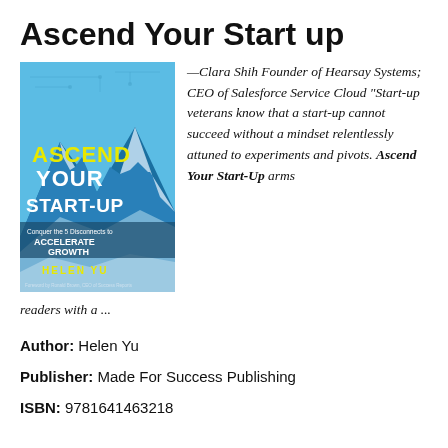Ascend Your Start up
[Figure (photo): Book cover of 'Ascend Your Start-Up' by Helen Yu featuring a mountain landscape with blue tones, yellow title text, and subtitle 'Conquer the 5 Disconnects to Accelerate Growth']
—Clara Shih Founder of Hearsay Systems; CEO of Salesforce Service Cloud "Start-up veterans know that a start-up cannot succeed without a mindset relentlessly attuned to experiments and pivots. Ascend Your Start-Up arms readers with a ...
Author: Helen Yu
Publisher: Made For Success Publishing
ISBN: 9781641463218